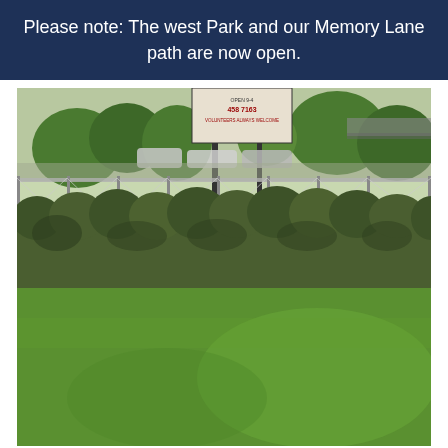Please note: The west Park and our Memory Lane path are now open.
[Figure (photo): Outdoor park photo showing a row of trimmed hedges along a chain-link fence, green grass lawn in the foreground, trees and parked cars in the background, and a sign post with text reading '458 7163 VOLUNTEERS ALWAYS WELCOME']